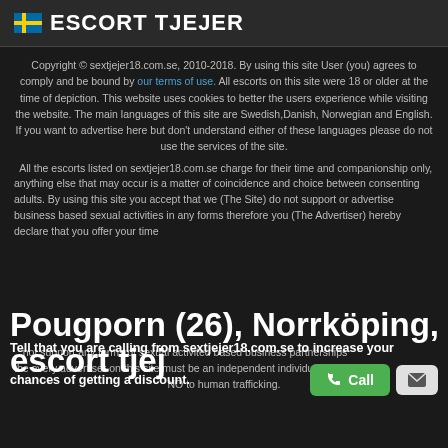ESCORT TJEJER
Copyright © sextjejer18.com.se, 2010-2018. By using this site User (you) agrees to comply and be bound by our terms of use. All escorts on this site were 18 or older at the time of depiction. This website uses cookies to better the users experience while visiting the website. The main languages of this site are Swedish,Danish, Norwegian and English. If you want to advertise here but don't understand either of these languages please do not use the services of the site.
All the escorts listed on sextjejer18.com.se charge for their time and companionship only, anything else that may occur is a matter of coincidence and choice between consenting adults. By using this site you accept that we (The Site) do not support or advertise business based sexual activities in any forms therefore you (The Advertiser) hereby declare that you offer your time and companionship only. We (sextjejer18.com.se & The Site) also do not support any forms of sexual activited based business partnerships therefore every advertiser on this site must be an independent individual. Say NO to human trafficking.
Pougporn (26), Norrköping, escort tjej
Tell that you are calling from sextjejer18.com.se to increase your chances of getting a discount.